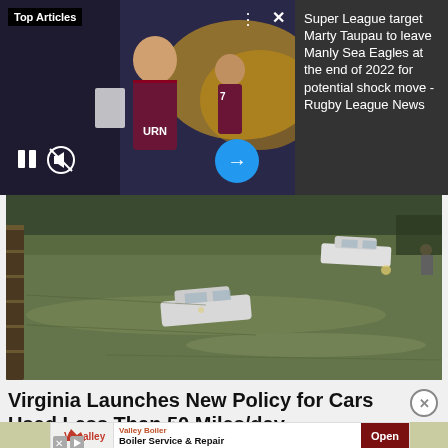[Figure (screenshot): Top Articles section showing a rugby league player in Manly Sea Eagles jersey with sports crowd background, video controls (pause, mute, arrow button), and sidebar text about Super League]
Super League target Marty Taupau to leave Manly Sea Eagles at the end of 2022 for potential shock move - Rugby League News
[Figure (photo): Aerial view of flooded road with cars submerged in floodwater]
Virginia Launches New Policy for Cars Used Less Than 50 Miles/day
Smart Lifestyle Trends
[Figure (screenshot): Advertisement for Valley Boiler - Boiler Service & Repair with Open button]